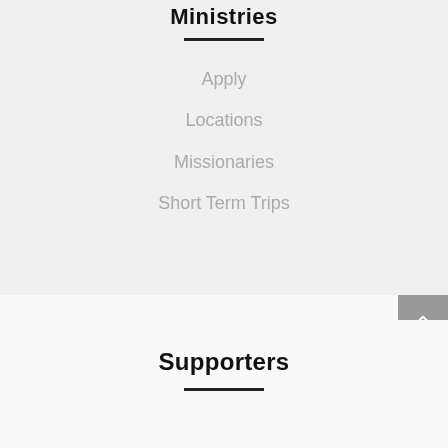Ministries
Apply
Locations
Missionaries
Short Term Trips
Supporters